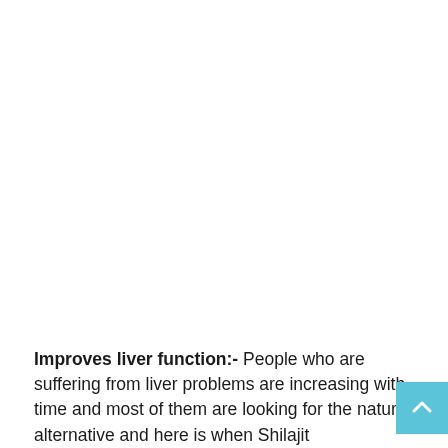Improves liver function:- People who are suffering from liver problems are increasing with time and most of them are looking for the natural alternative and here is when Shilajit...